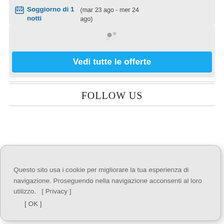Soggiorno di 1 notti  (mar 23 ago - mer 24 ago)
[Figure (other): Loading spinner/dots animation]
Vedi tutte le offerte
FOLLOW US
Questo sito usa i cookie per migliorare la tua esperienza di navigazione. Proseguendo nella navigazione acconsenti al loro utilizzo.  [ Privacy ]  [ OK ]